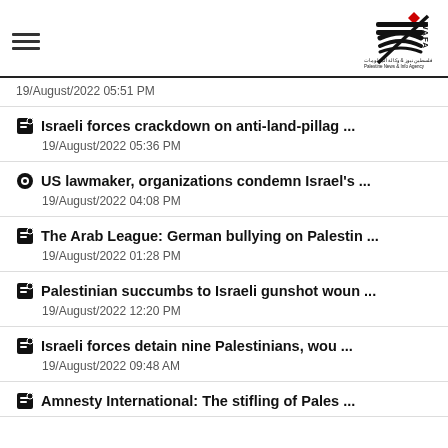WAFA - Palestinian News & Info Agency
19/August/2022 05:51 PM
Israeli forces crackdown on anti-land-pillag ...
19/August/2022 05:36 PM
US lawmaker, organizations condemn Israel's ...
19/August/2022 04:08 PM
The Arab League: German bullying on Palestin ...
19/August/2022 01:28 PM
Palestinian succumbs to Israeli gunshot woun ...
19/August/2022 12:20 PM
Israeli forces detain nine Palestinians, wou ...
19/August/2022 09:48 AM
Amnesty International: The stifling of Pales ...